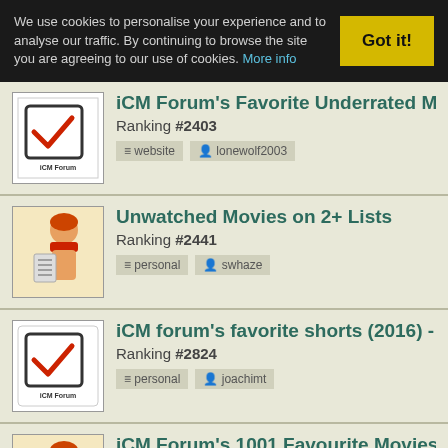We use cookies to personalise your experience and to analyse our traffic. By continuing to browse the site you are agreeing to our use of cookies. More info  [Got it!]
iCM Forum's Favorite Underrated Movies Com
Ranking #2403
website  lonewolf2003
Unwatched Movies on 2+ Lists
Ranking #2441
personal  swhaze
iCM forum's favorite shorts (2016) - all votes
Ranking #2824
personal  joachimt
iCM Forum's 1001 Favourite Movies 10 Years B
Ranking #3218
personal  tim2460
Films on at least 03 official lists